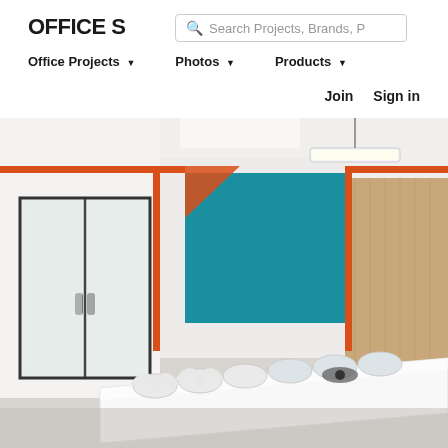OFFICE S | Search Projects, Brands, P
Office Projects ▼   Photos ▼   Products ▼
Join   Sign in
[Figure (photo): Interior of a modern office meeting room with white walls accented by orange trim lines along the ceiling and doorframes, a teal/blue feature wall panel, warm wood paneling on the right, a long white conference table with white chairs, and a rectangular pendant light fixture. Glass double doors visible on the left.]